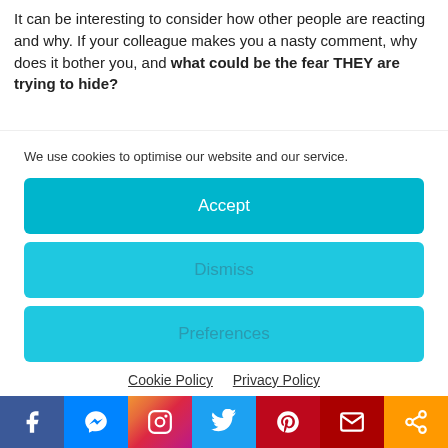It can be interesting to consider how other people are reacting and why. If your colleague makes you a nasty comment, why does it bother you, and what could be the fear THEY are trying to hide?
We use cookies to optimise our website and our service.
Accept
Dismiss
Preferences
Cookie Policy   Privacy Policy
change how we perceive and live them.
Learning to let your mind rest seems to take som...